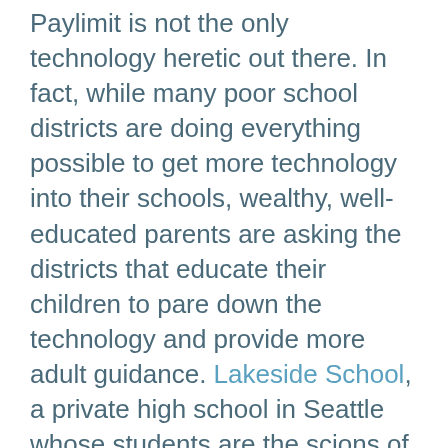Paylimit is not the only technology heretic out there. In fact, while many poor school districts are doing everything possible to get more technology into their schools, wealthy, well-educated parents are asking the districts that educate their children to pare down the technology and provide more adult guidance. Lakeside School, a private high school in Seattle whose students are the scions of the Pacific Northwest elite and that boasts Bill Gates among its alumni, has no dearth of technology. But what the parents of Lakeside students are really paying for is the extra adult guidance that is so important in a student's education. Lakeside has a 9:1 student to teacher ratio.

Similarly many tech company executives in Silicon